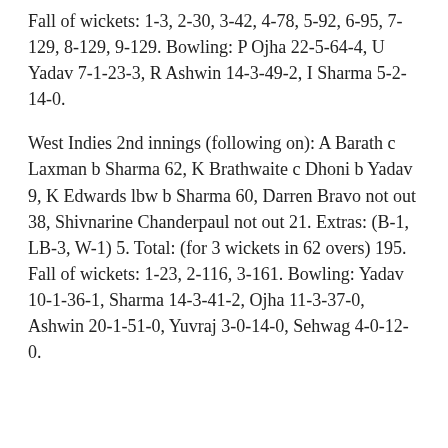Fall of wickets: 1-3, 2-30, 3-42, 4-78, 5-92, 6-95, 7-129, 8-129, 9-129. Bowling: P Ojha 22-5-64-4, U Yadav 7-1-23-3, R Ashwin 14-3-49-2, I Sharma 5-2-14-0.
West Indies 2nd innings (following on): A Barath c Laxman b Sharma 62, K Brathwaite c Dhoni b Yadav 9, K Edwards lbw b Sharma 60, Darren Bravo not out 38, Shivnarine Chanderpaul not out 21. Extras: (B-1, LB-3, W-1) 5. Total: (for 3 wickets in 62 overs) 195. Fall of wickets: 1-23, 2-116, 3-161. Bowling: Yadav 10-1-36-1, Sharma 14-3-41-2, Ojha 11-3-37-0, Ashwin 20-1-51-0, Yuvraj 3-0-14-0, Sehwag 4-0-12-0.